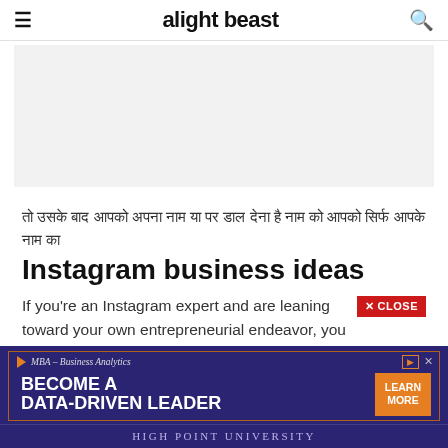alight beast
[Figure (other): Gray advertisement placeholder area]
तो उसके बाद आपको अपना नाम या पर डाल देना है नाम को आपको सिर्फ आपके नाम का
Instagram business ideas
If you're an Instagram expert and are leaning toward your own entrepreneurial endeavor, you might be
[Figure (infographic): MBA – Business Analytics advertisement banner for High Point University. Text reads: BECOME A DATA-DRIVEN LEADER with LEARN MORE button. Purple background with orange accents.]